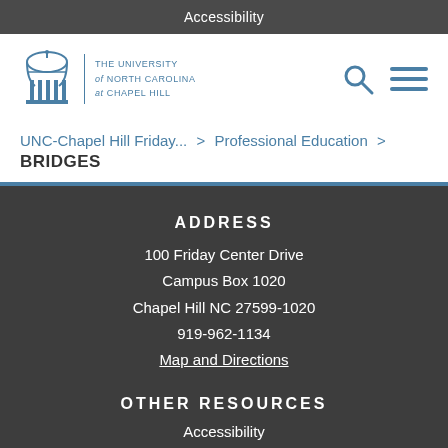Accessibility
[Figure (logo): UNC Chapel Hill logo with Old Well icon and text: THE UNIVERSITY of NORTH CAROLINA at CHAPEL HILL]
UNC-Chapel Hill Friday... > Professional Education > BRIDGES
ADDRESS
100 Friday Center Drive
Campus Box 1020
Chapel Hill NC 27599-1020
919-962-1134
Map and Directions
OTHER RESOURCES
Accessibility